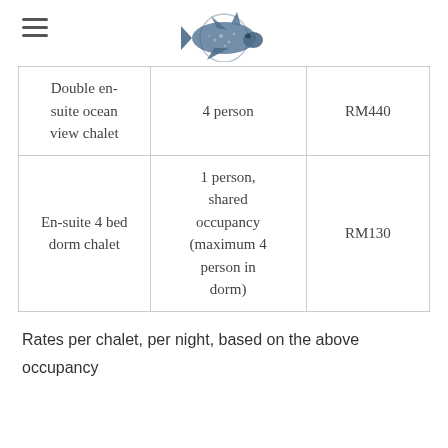[logo: whale shark illustration]
| Double en-suite ocean view chalet | 4 person | RM440 |
| En-suite 4 bed dorm chalet | 1 person, shared occupancy (maximum 4 person in dorm) | RM130 |
Rates per chalet, per night, based on the above occupancy